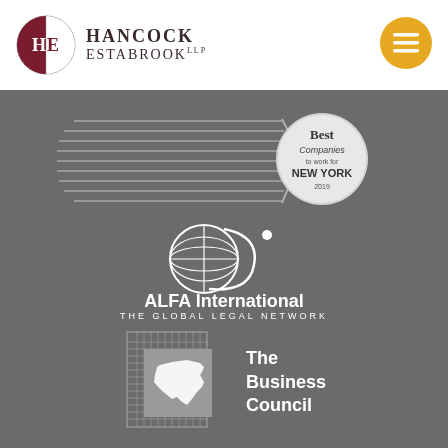[Figure (logo): Hancock Estabrook LLP logo with HE monogram in dark red circle and firm name in dark serif text]
[Figure (logo): Gold/yellow hamburger menu icon circle in top right of header]
[Figure (logo): Best Companies to Work for New York 2019 badge with speed lines graphic]
[Figure (logo): ALFA International - The Global Legal Network logo with globe icon]
[Figure (logo): The Business Council logo with New York state outline and hatched background square]